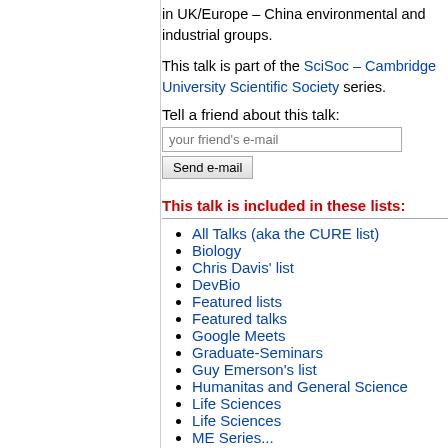in UK/Europe – China environmental and industrial groups.
This talk is part of the SciSoc – Cambridge University Scientific Society series.
Tell a friend about this talk:
This talk is included in these lists:
All Talks (aka the CURE list)
Biology
Chris Davis' list
DevBio
Featured lists
Featured talks
Google Meets
Graduate-Seminars
Guy Emerson's list
Humanitas and General Science
Life Sciences
Life Sciences
ME Series...